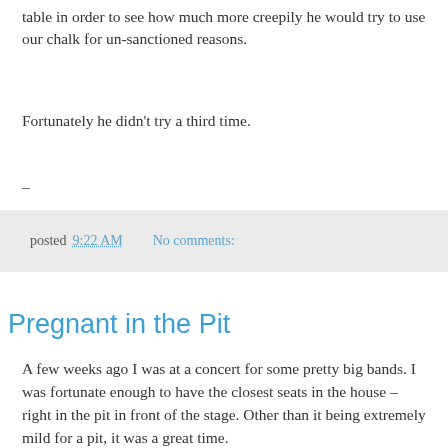table in order to see how much more creepily he would try to use our chalk for un-sanctioned reasons.
Fortunately he didn't try a third time.
–
posted 9:22 AM   No comments:
Tuesday, September 28, 2010
Pregnant in the Pit
A few weeks ago I was at a concert for some pretty big bands. I was fortunate enough to have the closest seats in the house – right in the pit in front of the stage. Other than it being extremely mild for a pit, it was a great time.
At one point I had looked to my left and back just to see what was going on. The area we were standing in was only 5 or 6 people deep and well-lit when the bands were on stage, so I